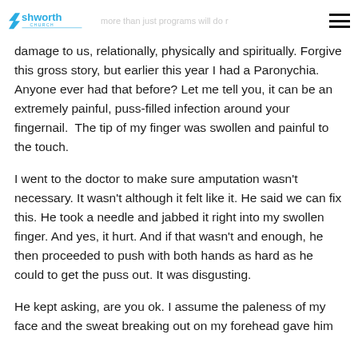Ashworth Church
damage to us, relationally, physically and spiritually. Forgive this gross story, but earlier this year I had a Paronychia. Anyone ever had that before? Let me tell you, it can be an extremely painful, puss-filled infection around your fingernail. The tip of my finger was swollen and painful to the touch.
I went to the doctor to make sure amputation wasn't necessary. It wasn't although it felt like it. He said we can fix this. He took a needle and jabbed it right into my swollen finger. And yes, it hurt. And if that wasn't and enough, he then proceeded to push with both hands as hard as he could to get the puss out. It was disgusting.
He kept asking, are you ok. I assume the paleness of my face and the sweat breaking out on my forehead gave him